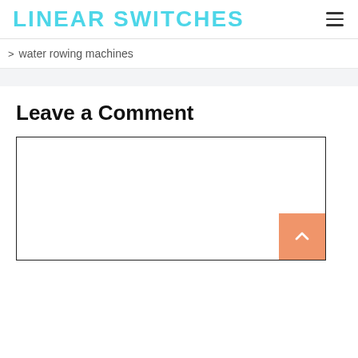LINEAR SWITCHES
> water rowing machines
Leave a Comment
[Figure (other): Empty comment text area input box with a scroll-to-top button (orange, with up chevron arrow) at the bottom right corner]